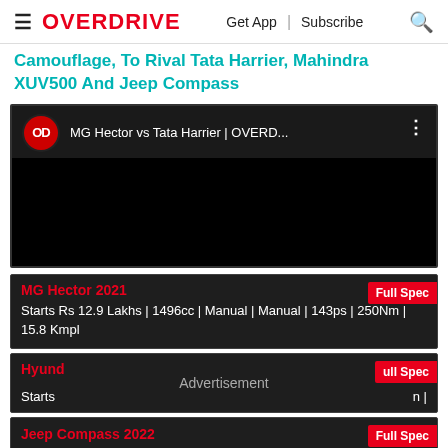≡ OVERDRIVE | Get App | Subscribe 🔍
Camouflage, To Rival Tata Harrier, Mahindra XUV500 And Jeep Compass
[Figure (screenshot): YouTube-style video player embed showing 'MG Hector vs Tata Harrier | OVERD...' with Overdrive OD logo circle, video title bar, and black video area]
MG Hector 2021 — Full Spec — Starts Rs 12.9 Lakhs | 1496cc | Manual | Manual | 143ps | 250Nm | 15.8 Kmpl
Hyundai [Advertisement overlay] — Full Spec — Starts ... n |
Jeep Compass 2022 — Full Spec